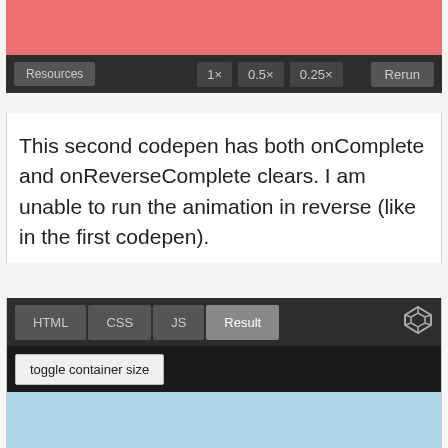[Figure (screenshot): Top portion of a CodePen embed showing a salmon/pink preview area with a dark controls bar containing Resources button, speed controls (1×, 0.5×, 0.25×), and Rerun button]
This second codepen has both onComplete and onReverseComplete clears. I am unable to run the animation in reverse (like in the first codepen).
[Figure (screenshot): Second CodePen embed showing HTML/CSS/JS/Result tabs with Result tab active, a toggle container size button, and a light blue preview area]